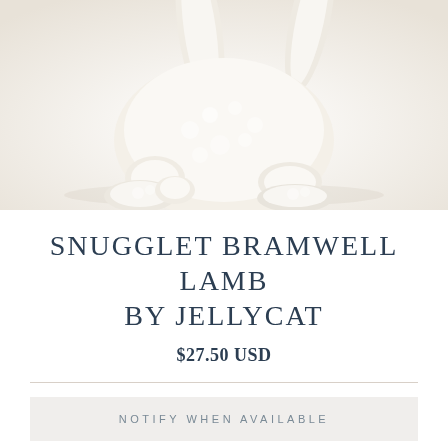[Figure (photo): Close-up photo of a cream/white fluffy stuffed lamb toy (Snugglet Bramwell Lamb by Jellycat), showing the plush body, legs, and feet against a white background]
SNUGGLET BRAMWELL LAMB BY JELLYCAT
$27.50 USD
NOTIFY WHEN AVAILABLE
NOTIFY ME WHEN AVAILABLE